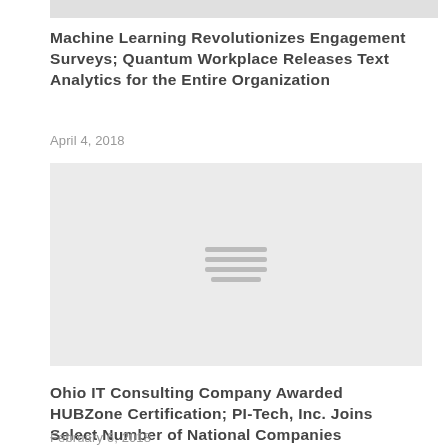[Figure (photo): Partial image at top of page (clipped)]
Machine Learning Revolutionizes Engagement Surveys; Quantum Workplace Releases Text Analytics for the Entire Organization
April 4, 2018
[Figure (photo): Article thumbnail image placeholder with loading icon (three horizontal lines)]
Ohio IT Consulting Company Awarded HUBZone Certification; PI-Tech, Inc. Joins Select Number of National Companies
February 6, 2018